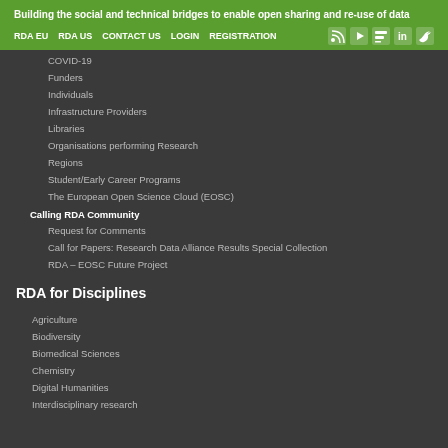Building the social and technical bridges to enable open sharing and re-use of data
RDA EU
RDA US
CONTACT US
LOGIN
REGISTRATION
COVID-19
Funders
Individuals
Infrastructure Providers
Libraries
Organisations performing Research
Regions
Student/Early Career Programs
The European Open Science Cloud (EOSC)
Calling RDA Community
Request for Comments
Call for Papers: Research Data Alliance Results Special Collection
RDA – EOSC Future Project
RDA for Disciplines
Agriculture
Biodiversity
Biomedical Sciences
Chemistry
Digital Humanities
Interdisciplinary research